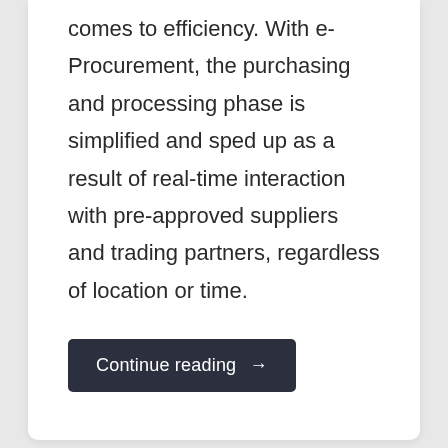comes to efficiency. With e-Procurement, the purchasing and processing phase is simplified and sped up as a result of real-time interaction with pre-approved suppliers and trading partners, regardless of location or time.
Continue reading →
What is Supplier